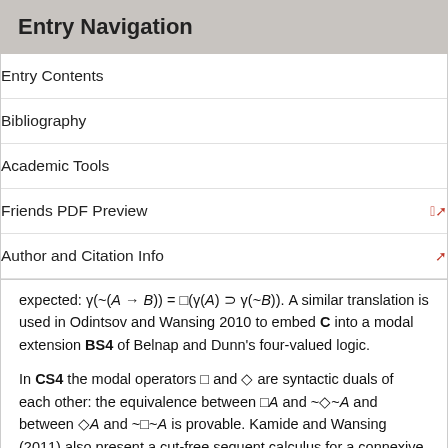Entry Navigation
Entry Contents
Bibliography
Academic Tools
Friends PDF Preview
Author and Citation Info
expected: γ(~(A → B)) = □(γ(A) ⊃ γ(~B)). A similar translation is used in Odintsov and Wansing 2010 to embed C into a modal extension BS4 of Belnap and Dunn's four-valued logic.
In CS4 the modal operators □ and ◇ are syntactic duals of each other: the equivalence between □A and ~◇~A and between ◇A and ~□~A is provable. Kamide and Wansing (2011) also present a cut-free sequent calculus for a connexive constructive version CS4d- of S4 without syntactic duality between □ and ◇. The relational possible